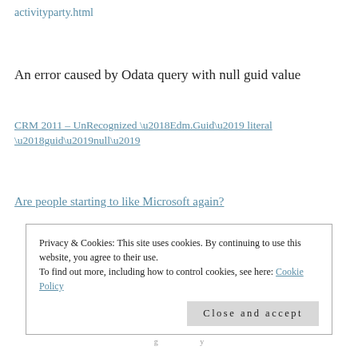activityparty.html
An error caused by Odata query with null guid value
CRM 2011 – UnRecognized ‘Edm.Guid’ literal ‘guid’null’
Are people starting to like Microsoft again?
Privacy & Cookies: This site uses cookies. By continuing to use this website, you agree to their use.
To find out more, including how to control cookies, see here: Cookie Policy
Close and accept